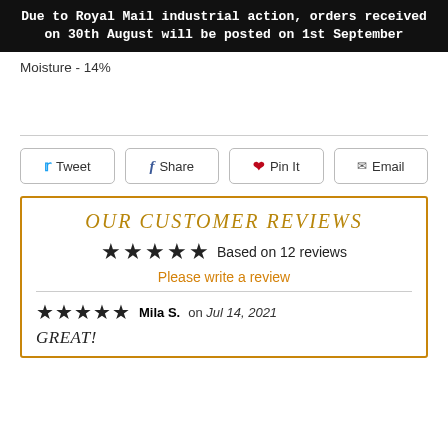Due to Royal Mail industrial action, orders received on 30th August will be posted on 1st September
Moisture - 14%
Tweet  Share  Pin It  Email
OUR CUSTOMER REVIEWS
Based on 12 reviews
Please write a review
Mila S. on Jul 14, 2021
GREAT!